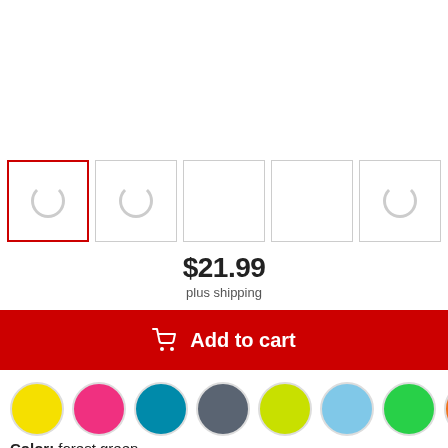[Figure (screenshot): Row of 5 product thumbnail image boxes, first one selected with red border, others with gray borders; most show loading spinners]
$21.99
plus shipping
Add to cart
[Figure (illustration): Row of color swatches: yellow, pink/magenta, teal, gray, yellow-green, light blue, green, orange, brown]
Color: forest green
S M L XL 2XL 3XL 4XL ...